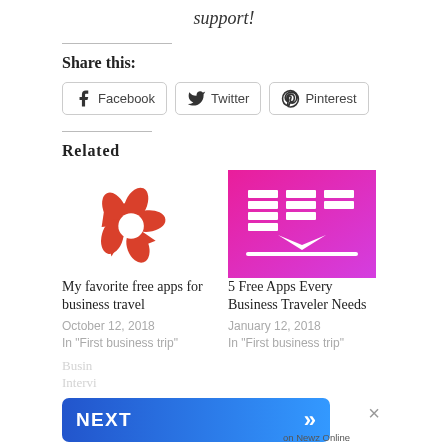support!
Share this:
Facebook  Twitter  Pinterest
Related
[Figure (logo): Yelp logo — red flower/star shape made of triangular petals on white background]
My favorite free apps for business travel
October 12, 2018
In "First business trip"
[Figure (logo): Pink/magenta gradient background with white bar-chart style icon and arrow, representing free apps for business travelers]
5 Free Apps Every Business Traveler Needs
January 12, 2018
In "First business trip"
NEXT